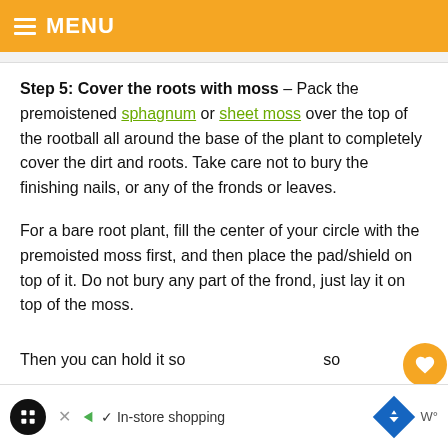MENU
Step 5: Cover the roots with moss – Pack the premoistened sphagnum or sheet moss over the top of the rootball all around the base of the plant to completely cover the dirt and roots. Take care not to bury the finishing nails, or any of the fronds or leaves.
For a bare root plant, fill the center of your circle with the premoisted moss first, and then place the pad/shield on top of it. Do not bury any part of the frond, just lay it on top of the moss.
Then you can hold it...so a...you...
In-store shopping | 71